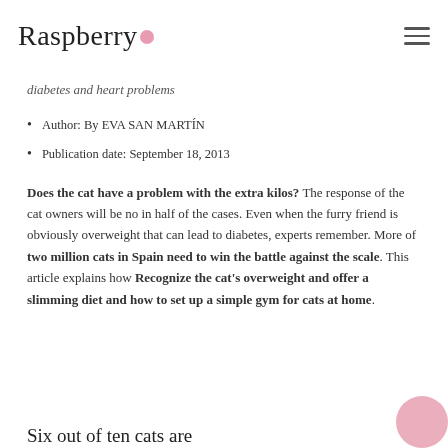Raspberry
diabetes and heart problems
Author: By EVA SAN MARTÍN
Publication date: September 18, 2013
Does the cat have a problem with the extra kilos? The response of the cat owners will be no in half of the cases. Even when the furry friend is obviously overweight that can lead to diabetes, experts remember. More of two million cats in Spain need to win the battle against the scale. This article explains how Recognize the cat's overweight and offer a slimming diet and how to set up a simple gym for cats at home.
Six out of ten cats are